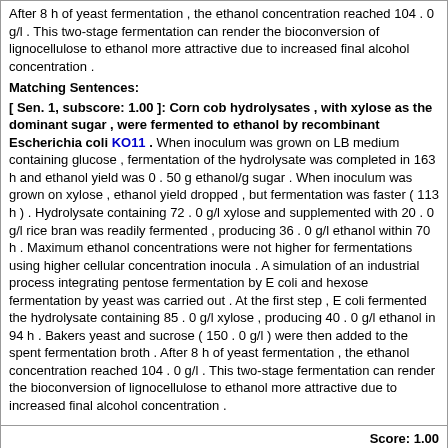After 8 h of yeast fermentation , the ethanol concentration reached 104 . 0 g/l . This two-stage fermentation can render the bioconversion of lignocellulose to ethanol more attractive due to increased final alcohol concentration .
Matching Sentences:
[ Sen. 1, subscore: 1.00 ]: Corn cob hydrolysates , with xylose as the dominant sugar , were fermented to ethanol by recombinant Escherichia coli KO11 . When inoculum was grown on LB medium containing glucose , fermentation of the hydrolysate was completed in 163 h and ethanol yield was 0 . 50 g ethanol/g sugar . When inoculum was grown on xylose , ethanol yield dropped , but fermentation was faster ( 113 h ) . Hydrolysate containing 72 . 0 g/l xylose and supplemented with 20 . 0 g/l rice bran was readily fermented , producing 36 . 0 g/l ethanol within 70 h . Maximum ethanol concentrations were not higher for fermentations using higher cellular concentration inocula . A simulation of an industrial process integrating pentose fermentation by E coli and hexose fermentation by yeast was carried out . At the first step , E coli fermented the hydrolysate containing 85 . 0 g/l xylose , producing 40 . 0 g/l ethanol in 94 h . Bakers yeast and sucrose ( 150 . 0 g/l ) were then added to the spent fermentation broth . After 8 h of yeast fermentation , the ethanol concentration reached 104 . 0 g/l . This two-stage fermentation can render the bioconversion of lignocellulose to ethanol more attractive due to increased final alcohol concentration .
Score: 1.00
Title: Ethanol production from corn cob hydrolysates by Escherichia coli KO11 .
Author: de Carvalho Lima KG Takahashi CM Alterthum F
Year: 2002 Type: ARTICLE